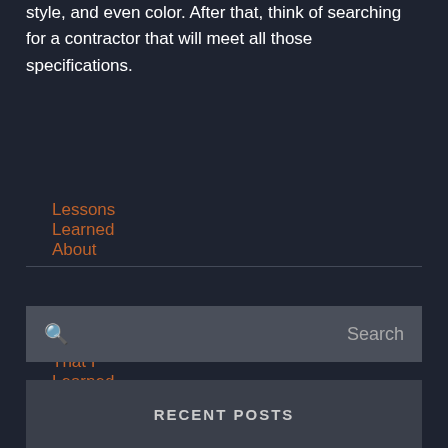style, and even color. After that, think of searching for a contractor that will meet all those specifications.
Lessons Learned About
5 Takeaways That I Learned About
Search
RECENT POSTS